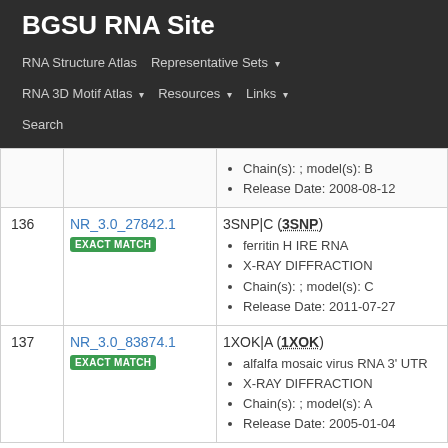BGSU RNA Site
RNA Structure Atlas | Representative Sets ▾ | RNA 3D Motif Atlas ▾ | Resources ▾ | Links ▾ | Search
| # | ID | Details |
| --- | --- | --- |
|  |  | Chain(s): ; model(s): B
Release Date: 2008-08-12 |
| 136 | NR_3.0_27842.1 EXACT MATCH | 3SNP|C (3SNP)
ferritin H IRE RNA
X-RAY DIFFRACTION
Chain(s): ; model(s): C
Release Date: 2011-07-27 |
| 137 | NR_3.0_83874.1 EXACT MATCH | 1XOK|A (1XOK)
alfalfa mosaic virus RNA 3' UTR
X-RAY DIFFRACTION
Chain(s): ; model(s): A
Release Date: 2005-01-04 |